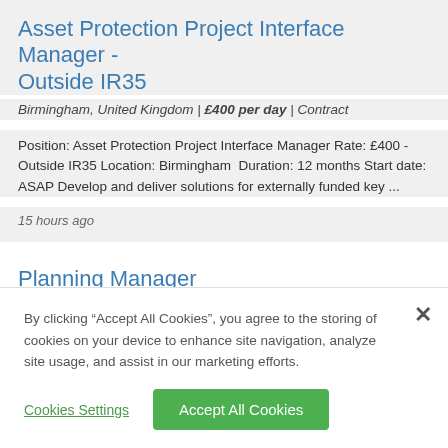Asset Protection Project Interface Manager - Outside IR35
Birmingham, United Kingdom | £400 per day | Contract
Position: Asset Protection Project Interface Manager Rate: £400 - Outside IR35 Location: Birmingham  Duration: 12 months Start date: ASAP Develop and deliver solutions for externally funded key ...
15 hours ago
Planning Manager
Cambridge, Cambridgeshire, United Kingdom | GBP £70000 to £75000 per annum | Permanent
By clicking "Accept All Cookies", you agree to the storing of cookies on your device to enhance site navigation, analyze site usage, and assist in our marketing efforts.
Cookies Settings
Accept All Cookies